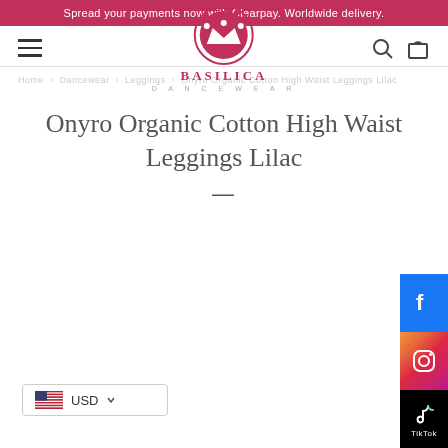Spread your payments now with Clearpay. Worldwide delivery.
[Figure (logo): Basilica Dancewear logo with crown icon and brand name]
Breadcrumb navigation (faded)
Onyro Organic Cotton High Waist Leggings Lilac
[Figure (infographic): USD currency selector with US flag]
[Figure (infographic): Social media sidebar with Facebook, Instagram, and TikTok icons]